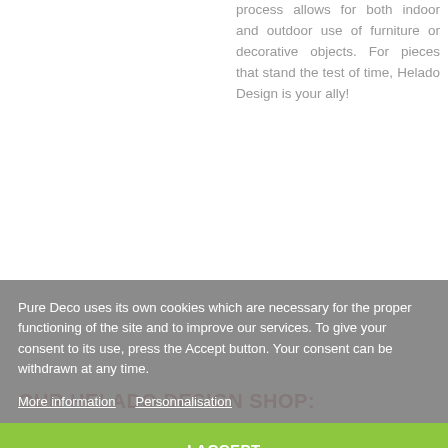process allows for both indoor and outdoor use of furniture or decorative objects. For pieces that stand the test of time, Helado Design is your ally!
OUR HELADO DESIGN SHOP:
Pure Deco uses its own cookies which are necessary for the proper functioning of the site and to improve our services. To give your consent to its use, press the Accept button. Your consent can be withdrawn at any time.
More information   Personnalisation
I ACCEPT